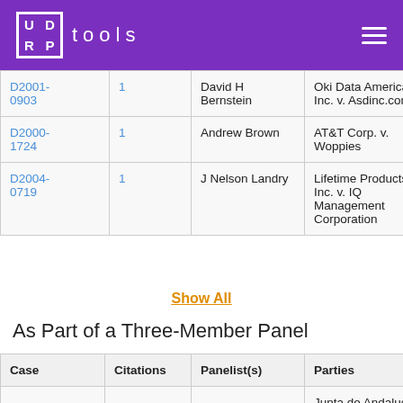UDRP tools
| Case | Citations | Panelist(s) | Parties |  |
| --- | --- | --- | --- | --- |
| D2001-0903 | 1 | David H Bernstein | Oki Data Americas, Inc. v. Asdinc.com | okidatapa… |
| D2000-1724 | 1 | Andrew Brown | AT&T Corp. v. Woppies | attanywh… |
| D2004-0719 | 1 | J Nelson Landry | Lifetime Products, Inc. v. IQ Management Corporation | lifetimepr… |
Show All
As Part of a Three-Member Panel
| Case | Citations | Panelist(s) | Parties |  |
| --- | --- | --- | --- | --- |
| D2006… | 2 | M Scott… | Junta de Andalucia v… |  |